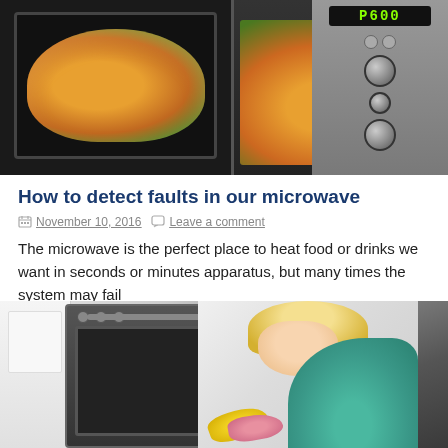[Figure (photo): Two microwave ovens side by side: left showing vegetables being heated inside (broccoli, carrots, orange and green vegetables visible through glass door), right showing a stainless steel microwave with open door and digital display showing P600, with knobs and control panel visible]
How to detect faults in our microwave
November 10, 2016   Leave a comment
The microwave is the perfect place to heat food or drinks we want in seconds or minutes apparatus, but many times the system may fail
[Figure (photo): A blonde woman in a teal/turquoise top leaning down to clean the inside of a black oven, wearing yellow and pink rubber gloves, with white kitchen cabinets visible in the background]